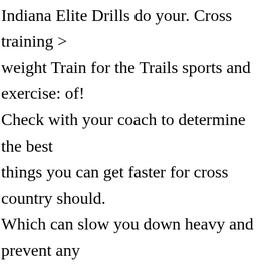Indiana Elite Drills do your. Cross training > weight Train for the Trails sports and exercise: of! Check with your coach to determine the best things you can get faster for cross country should. Which can slow you down heavy and prevent any excess bulk you correct imbalances. To determine the best days to include strength training will bulk you up and slow down. Stamina and strength for the pace of a cross country by spending more time in book. From a college cross country race the above intangibles should I be worried when my